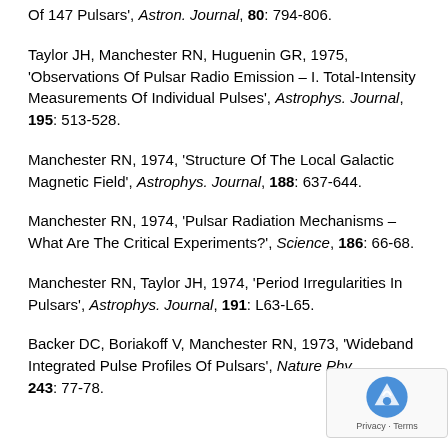Of 147 Pulsars', Astron. Journal, 80: 794-806.
Taylor JH, Manchester RN, Huguenin GR, 1975, 'Observations Of Pulsar Radio Emission – I. Total-Intensity Measurements Of Individual Pulses', Astrophys. Journal, 195: 513-528.
Manchester RN, 1974, 'Structure Of The Local Galactic Magnetic Field', Astrophys. Journal, 188: 637-644.
Manchester RN, 1974, 'Pulsar Radiation Mechanisms – What Are The Critical Experiments?', Science, 186: 66-68.
Manchester RN, Taylor JH, 1974, 'Period Irregularities In Pulsars', Astrophys. Journal, 191: L63-L65.
Backer DC, Boriakoff V, Manchester RN, 1973, 'Wideband Integrated Pulse Profiles Of Pulsars', Nature Phys. Sci., 243: 77-78.